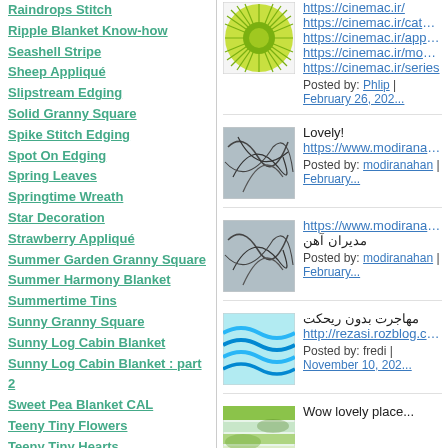Raindrops Stitch
Ripple Blanket Know-how
Seashell Stripe
Sheep Appliqué
Slipstream Edging
Solid Granny Square
Spike Stitch Edging
Spot On Edging
Spring Leaves
Springtime Wreath
Star Decoration
Strawberry Appliqué
Summer Garden Granny Square
Summer Harmony Blanket
Summertime Tins
Sunny Granny Square
Sunny Log Cabin Blanket
Sunny Log Cabin Blanket : part 2
Sweet Pea Blanket CAL
Teeny Tiny Flowers
Teeny Tiny Hearts
Teeny Tiny Stars
Trellis Edging
Trellis Stripe
Triple Layer Flower
[Figure (photo): Sunburst/starburst green circle pattern image thumbnail]
https://cinemac.ir/
https://cinemac.ir/category
https://cinemac.ir/application
https://cinemac.ir/movies/
https://cinemac.ir/series
Posted by: Phlip | February 26, 202...
[Figure (photo): Abstract tangled lines on grey-blue background thumbnail]
Lovely!
https://www.modiranahan.co...
Posted by: modiranahan | February...
[Figure (photo): Abstract tangled lines on grey-blue background thumbnail]
https://www.modiranahan.co...
مدیران آهن
Posted by: modiranahan | February...
[Figure (photo): Blue wavy lines on light blue background thumbnail]
مهاجرت بدون ریحکت
http://rezasi.rozblog.com/
Posted by: fredi | November 10, 202...
[Figure (photo): Green and yellow striped/leaf pattern thumbnail]
Wow lovely place...